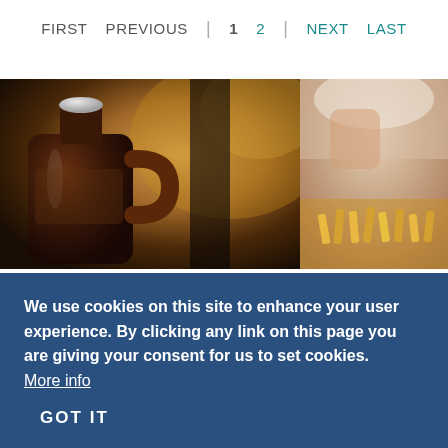FIRST  PREVIOUS  |  1  2  |  NEXT  LAST
[Figure (photo): Two photos side by side: left shows a brown glass growler bottle in warm bokeh background; right shows a person with food (fries) in background]
We use cookies on this site to enhance your user experience. By clicking any link on this page you are giving your consent for us to set cookies. More info
GOT IT